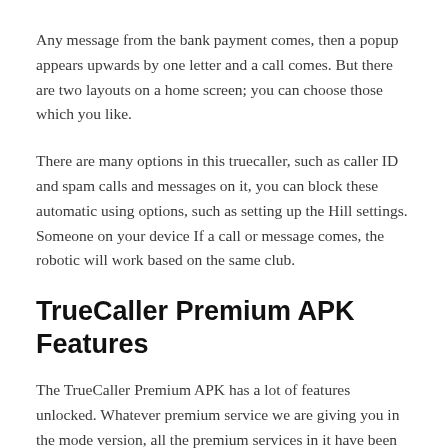Any message from the bank payment comes, then a popup appears upwards by one letter and a call comes. But there are two layouts on a home screen; you can choose those which you like.
There are many options in this truecaller, such as caller ID and spam calls and messages on it, you can block these automatic using options, such as setting up the Hill settings. Someone on your device If a call or message comes, the robotic will work based on the same club.
TrueCaller Premium APK Features
The TrueCaller Premium APK has a lot of features unlocked. Whatever premium service we are giving you in the mode version, all the premium services in it have been unlocked. If you want to know about the features of the TrueCaller Premium application, you can get it below.